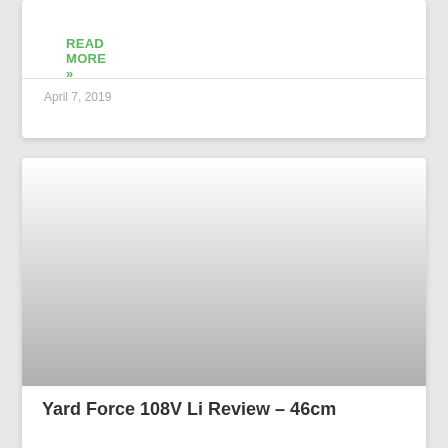READ MORE »
April 7, 2019
[Figure (photo): Gray gradient placeholder image for article thumbnail]
Yard Force 108V Li Review – 46cm